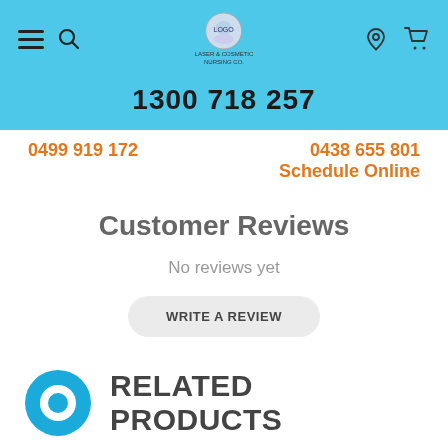Navigation bar with hamburger menu, search icon, logo, user icon, cart icon
1300 718 257
0499 919 172
0438 655 801
Schedule Online
Customer Reviews
No reviews yet
WRITE A REVIEW
[Figure (logo): Blue circular chat bubble icon]
RELATED PRODUCTS